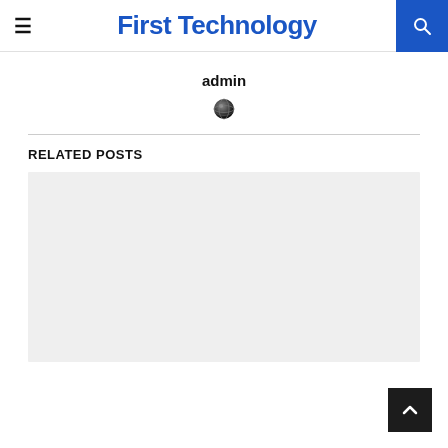First Technology
admin
[Figure (illustration): Globe/world icon]
RELATED POSTS
[Figure (photo): Gray placeholder image for related post thumbnail]